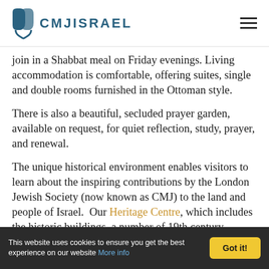CMJ ISRAEL
join in a Shabbat meal on Friday evenings. Living accommodation is comfortable, offering suites, single and double rooms furnished in the Ottoman style.
There is also a beautiful, secluded prayer garden, available on request, for quiet reflection, study, prayer, and renewal.
The unique historical environment enables visitors to learn about the inspiring contributions by the London Jewish Society (now known as CMJ) to the land and people of Israel.  Our Heritage Centre, which includes the historic buildings, a number of 19th century architectural models and many displays and photographs, chronicle the events and notable individuals whose passion for God led
This website uses cookies to ensure you get the best experience on our website More info  Got it!